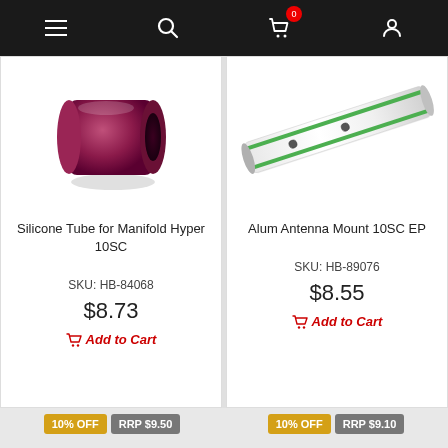Navigation bar with menu, search, cart (0 items), account icons
[Figure (photo): Silicone Tube product photo - purple/magenta cylindrical silicone tube]
Silicone Tube for Manifold Hyper 10SC
SKU: HB-84068
$8.73
Add to Cart
[Figure (photo): Alum Antenna Mount product photo - white and green aluminum antenna mount rod]
Alum Antenna Mount 10SC EP
SKU: HB-89076
$8.55
Add to Cart
10% OFF
RRP $9.50
10% OFF
RRP $9.10